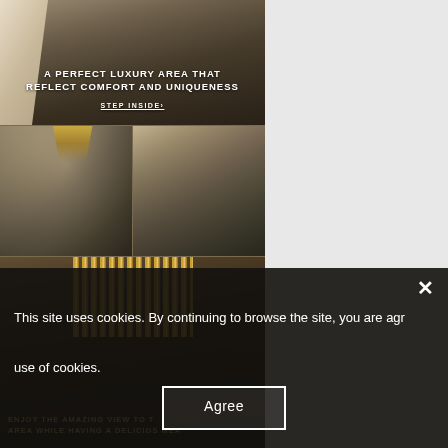[Figure (photo): Luxury interior with marble sculpture and warm ambient lighting, with text overlay: 'A PERFECT LUXURY AREA THAT REFLECT COMFORT AND UNIQUENESS' and 'STEP INSIDE>' link]
[Figure (photo): Luxury living room interior with gold chandelier and modern sofa arrangement]
[Figure (photo): Luxury living room with large windows and contemporary furniture]
[Figure (photo): Dark luxury interior with gold rod decorations and dining area, text overlay: 'ENJOY THE AMAZING VIEW TO THE AREA WHILE HAVING A DELICIOUS MEAL']
This site uses cookies. By continuing to browse the site, you are agreeing to our use of cookies.
Agree